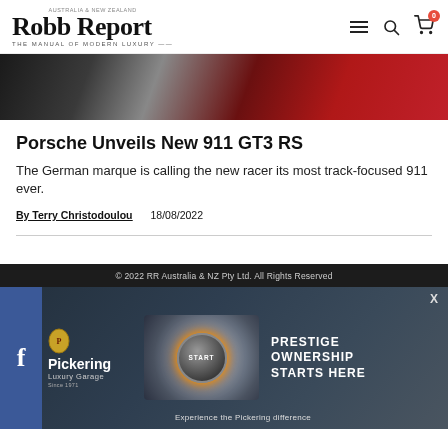Robb Report — AUSTRALIA & NEW ZEALAND — THE MANUAL OF MODERN LUXURY
[Figure (photo): Partial view of a red and black sports car, close-up angled shot showing body panels]
Porsche Unveils New 911 GT3 RS
The German marque is calling the new racer its most track-focused 911 ever.
By Terry Christodoulou   18/08/2022
© 2022 RR Australia & NZ Pty Ltd. All Rights Reserved
[Figure (photo): Advertisement for Pickering Luxury Garage showing car interior with start button and text: PRESTIGE OWNERSHIP STARTS HERE — Experience the Pickering difference]